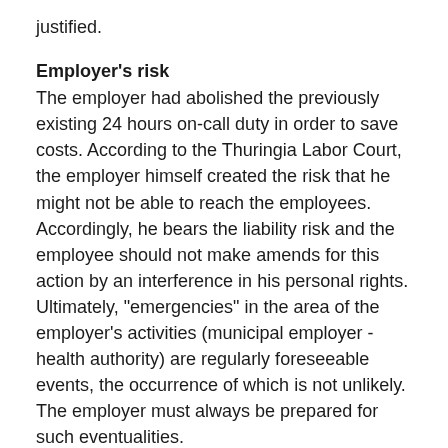justified.
Employer's risk
The employer had abolished the previously existing 24 hours on-call duty in order to save costs. According to the Thuringia Labor Court, the employer himself created the risk that he might not be able to reach the employees. Accordingly, he bears the liability risk and the employee should not make amends for this action by an interference in his personal rights. Ultimately, "emergencies" in the area of the employer's activities (municipal employer - health authority) are regularly foreseeable events, the occurrence of which is not unlikely. The employer must always be prepared for such eventualities.
Decision
The Thuringia Labor Court stated in its guiding principle that: "The collection/recording of an employee's private mobile phone number against his will is only permissible in exceptional cases because of the interference with the general right of personality if the employer, without knowledge of the mobile phone number, cannot, cannot